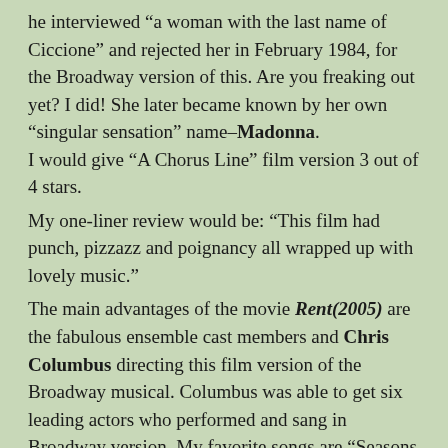he interviewed “a woman with the last name of Ciccione” and rejected her in February 1984, for the Broadway version of this. Are you freaking out yet? I did! She later became known by her own “singular sensation” name–Madonna. I would give “A Chorus Line” film version 3 out of 4 stars.
My one-liner review would be: “This film had punch, pizzazz and poignancy all wrapped up with lovely music.”
The main advantages of the movie Rent(2005) are the fabulous ensemble cast members and Chris Columbus directing this film version of the Broadway musical. Columbus was able to get six leading actors who performed and sang in Broadway version. My favorite songs are “Seasons of Love” which talks about how many minutes and